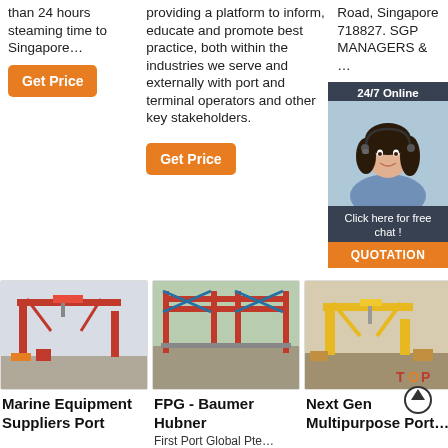than 24 hours steaming time to Singapore…
providing a platform to inform, educate and promote best practice, both within the industries we serve and externally with port and terminal operators and other key stakeholders.
Road, Singapore 718827. SGP MANAGERS & …
[Figure (photo): Get Price orange button - column 1]
[Figure (photo): Get Price orange button - column 2]
[Figure (photo): 24/7 Online chat widget with woman customer service photo, Click here for free chat!, QUOTATION button]
[Figure (photo): Red gantry/portal crane at a port or construction site]
Marine Equipment Suppliers Port…
[Figure (photo): Red and blue bridge/gantry structure at a construction site]
FPG - Baumer Hubner
First Port Global Pte…
[Figure (photo): Yellow gantry crane at a shipyard or port]
Next Gen Multipurpose Port…